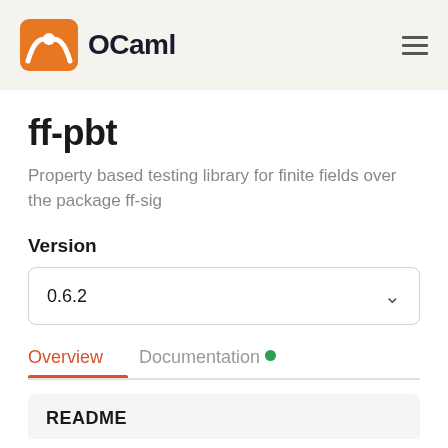OCaml
ff-pbt
Property based testing library for finite fields over the package ff-sig
Version
0.6.2
Overview   Documentation
README